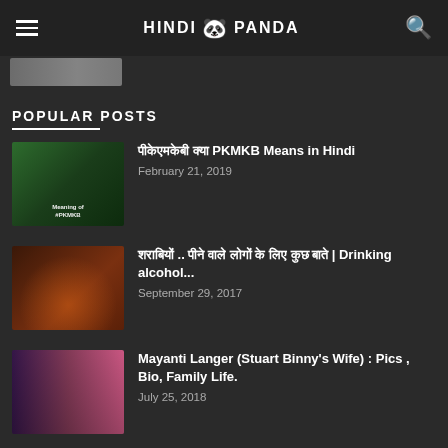HINDI PANDA
[Figure (screenshot): Partial image strip visible at top of page]
POPULAR POSTS
पीकेएमकेबी क्या PKMKB Means in Hindi - February 21, 2019
शराबियों .. पीने वाले लोगों के लिए कुछ बाते | Drinking alcohol... - September 29, 2017
Mayanti Langer (Stuart Binny's Wife) : Pics , Bio, Family Life. - July 25, 2018